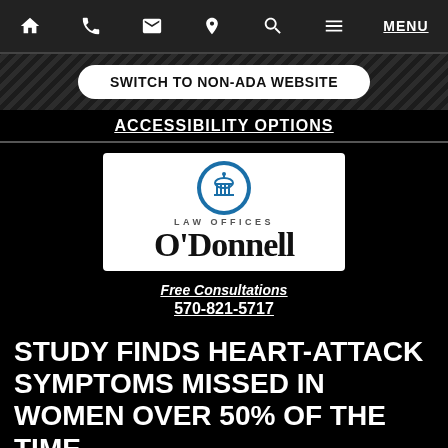Home | Phone | Mail | Location | Search | Menu | MENU
SWITCH TO NON-ADA WEBSITE
ACCESSIBILITY OPTIONS
[Figure (logo): O'Donnell Law Offices logo with a blue circular building icon above the text 'LAW OFFICES O'Donnell']
Free Consultations
570-821-5717
STUDY FINDS HEART-ATTACK SYMPTOMS MISSED IN WOMEN OVER 50% OF THE TIME